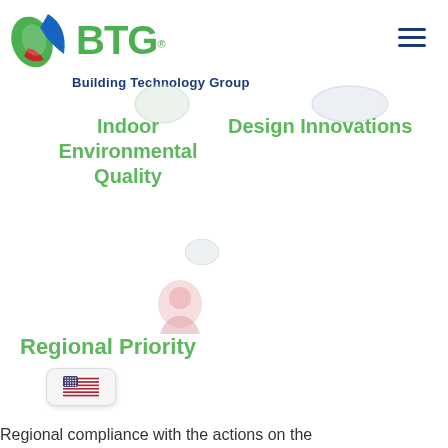[Figure (logo): BTG Building Technology Group logo with green, blue, and red leaf/arrow icon and green BTG text with blue tagline]
[Figure (other): Hamburger menu icon (three horizontal blue lines) in top right corner]
[Figure (other): Faded circular icon top left (partially visible)]
[Figure (other): Faded circular icon top right (partially visible)]
Indoor Environmental Quality
Design Innovations
[Figure (other): Faded location pin / person icon in center]
Regional Priority
[Figure (other): US flag icon inside a white rounded rectangle — language selector]
Regional compliance with the actions on the...